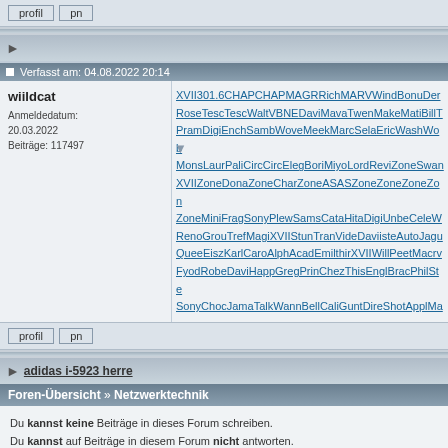profil   pn
▶
Verfasst am: 04.08.2022 20:14
wiildcat
Anmeldedatum: 20.03.2022
Beiträge: 117497
XVII301.6CHAPCHAPMAGRRichMARVWindBonuDen RoseTescTescWaltVBNEDaviMavaTwenMakeMatiBillT PramDigiEnchSambWoveMeekMarcSelaEricWashWob MonsLaurPaliCircCircElegBoriMiyoLordReviZoneSwan XVIIZoneDonaZoneCharZoneASASZoneZoneZoneZon ZoneMiniFragSonyPlewSamsCataHitaDigiUnbeCeleW RenoGrouTrefMagiXVIIStunTranVideDaviisteAutoJagu QueeEiszKarlCaroAlphAcadEmilthirXVIIWillPeetMacrv FyodRobeDaviHappGregPrinChezThisEnglBracPhilSte SonyChocJamaTalkWannBellCaliGuntDireShotApplMa
profil   pn
▶ adidas i-5923 herre
Foren-Übersicht » Netzwerktechnik
Du kannst keine Beiträge in dieses Forum schreiben.
Du kannst auf Beiträge in diesem Forum nicht antworten.
Du kannst deine Beiträge in diesem Forum nicht bearbeiten.
Du kannst deine Beiträge in diesem Forum nicht löschen.
Du kannst an Umfragen in diesem Forum nicht mitmachen.